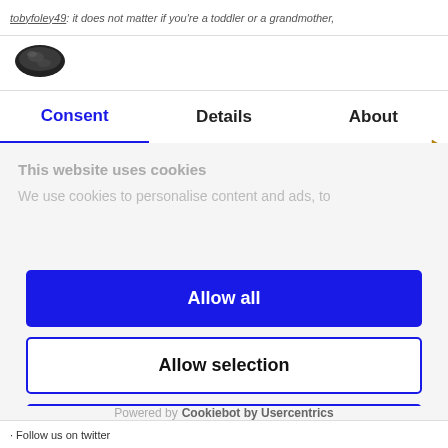tobyfoley49: it does not matter if you're a toddler or a grandmother,
[Figure (logo): Cookiebot cookie logo - dark oval cookie shape]
Consent | Details | About
This website uses cookies
We use cookies to personalise content and ads, to
Allow all
Allow selection
Deny
Powered by Cookiebot by Usercentrics
· Follow us on twitter